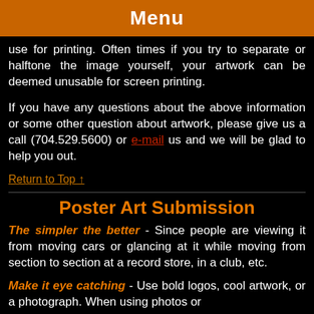Menu
use for printing. Often times if you try to separate or halftone the image yourself, your artwork can be deemed unusable for screen printing.
If you have any questions about the above information or some other question about artwork, please give us a call (704.529.5600) or e-mail us and we will be glad to help you out.
Return to Top ↑
Poster Art Submission
The simpler the better - Since people are viewing it from moving cars or glancing at it while moving from section to section at a record store, in a club, etc.
Make it eye catching - Use bold logos, cool artwork, or a photograph. When using photos or